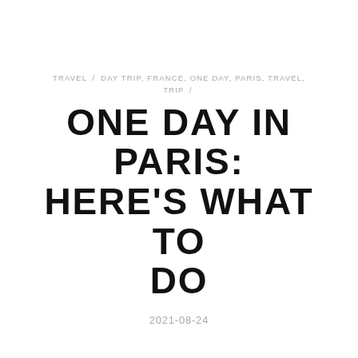TRAVEL / DAY TRIP, FRANCE, ONE DAY, PARIS, TRAVEL, TRIP /
ONE DAY IN PARIS: HERE'S WHAT TO DO
2021-08-24